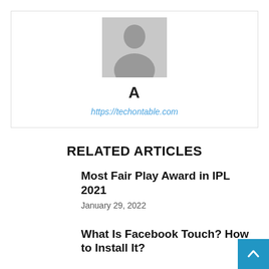[Figure (illustration): Default avatar placeholder image showing a silhouette of a person in gray]
A
https://techontable.com
RELATED ARTICLES
Most Fair Play Award in IPL 2021
January 29, 2022
What Is Facebook Touch? How to Install It?